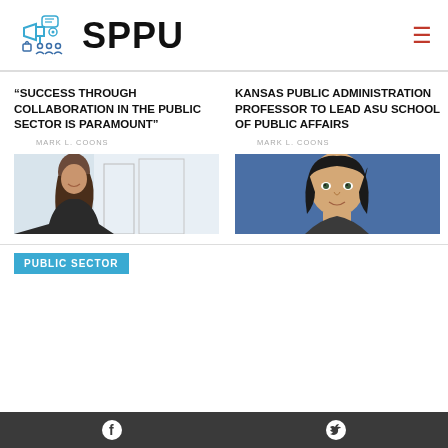[Figure (logo): SPPU logo with megaphone and people icons in teal/blue, next to bold SPPU text]
“SUCCESS THROUGH COLLABORATION IN THE PUBLIC SECTOR IS PARAMOUNT”
MARK L. COONS
[Figure (photo): Woman with long brown hair wearing a dark blazer, standing in front of a bright window with a city building behind her]
KANSAS PUBLIC ADMINISTRATION PROFESSOR TO LEAD ASU SCHOOL OF PUBLIC AFFAIRS
MARK L. COONS
[Figure (photo): Woman with dark hair against a blue background, looking upward]
PUBLIC SECTOR
Facebook and Twitter social media icons